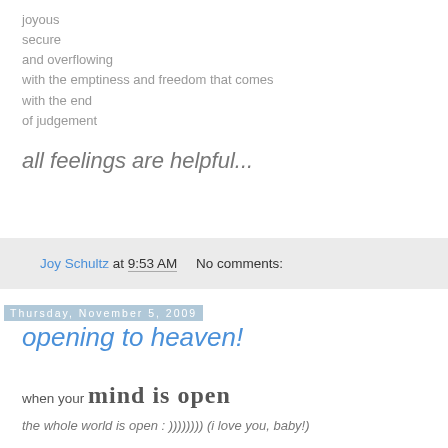joyous
secure
and overflowing
with the emptiness and freedom that comes
with the end
of judgement
all feelings are helpful...
Joy Schultz at 9:53 AM    No comments:
Thursday, November 5, 2009
opening to heaven!
when your mind is open
the whole world is open : )))))))) (i love you, baby!)